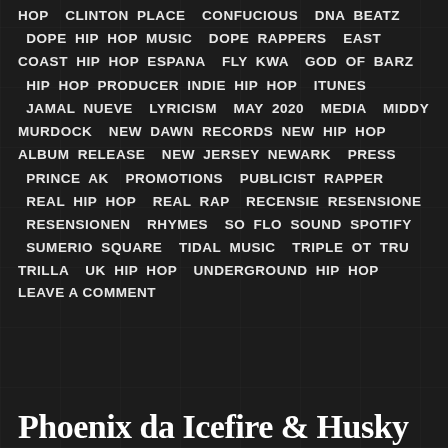HOP  CLINTON PLACE  CONFUCIOUS  DNA BEATZ  DOPE  HIP HOP MUSIC  DOPE RAPPERS  EAST COAST HIP HOP  ESPANA  FLY KWA  GOD OF BARZ  HIP HOP PRODUCER  INDIE HIP HOP  ITUNES  JAMAL NUEVE  LYRICISM  MAY 2020  MEDIA  MIDDY MURDOCK  NEW DAWN RECORDS  NEW HIP HOP ALBUM RELEASE  NEW JERSEY  NEWARK  PRESS  PRINCE AK  PROMOTIONS  PUBLICIST  RAPPER  REAL HIP HOP  REAL RAP  RECENSIE  RESENSIONE  RESENSIONEN  RHYMES  SO FLO SOUND  SPOTIFY  SUMERIO SQUARE  TIDAL MUSIC  TRIPLE OT  TRU TRILLA  UK HIP HOP  UNDERGROUND HIP HOP
LEAVE A COMMENT
Phoenix da Icefire & Husky